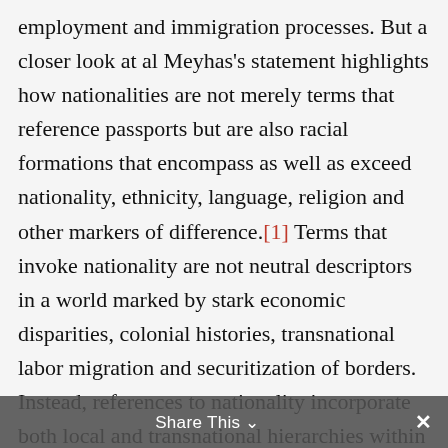employment and immigration processes. But a closer look at al Meyhas's statement highlights how nationalities are not merely terms that reference passports but are also racial formations that encompass as well as exceed nationality, ethnicity, language, religion and other markers of difference.[1] Terms that invoke nationality are not neutral descriptors in a world marked by stark economic disparities, colonial histories, transnational labor migration and securitization of borders. Instead, references to nationality incorporate both local and transnational hierarchies within which people's abilities, skills, characters and inherent place in society are naturalized—they are in fact racial categories. Analyses of social
Share This ∨  ×